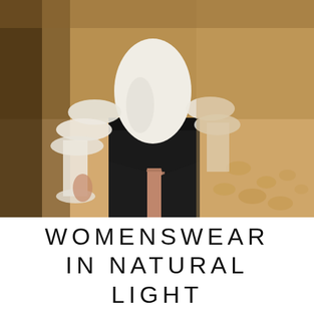[Figure (photo): A woman wearing a white ruffled blouse with wide bell sleeves and a black maxi skirt with a slit, standing in a warm-toned stone-floored interior space.]
WOMENSWEAR IN NATURAL LIGHT